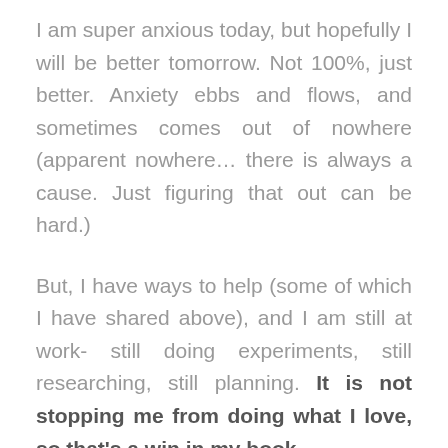I am super anxious today, but hopefully I will be better tomorrow. Not 100%, just better. Anxiety ebbs and flows, and sometimes comes out of nowhere (apparent nowhere… there is always a cause. Just figuring that out can be hard.)
But, I have ways to help (some of which I have shared above), and I am still at work- still doing experiments, still researching, still planning. It is not stopping me from doing what I love, so that's a win in my book.
If you don't have anxiety I hope this has